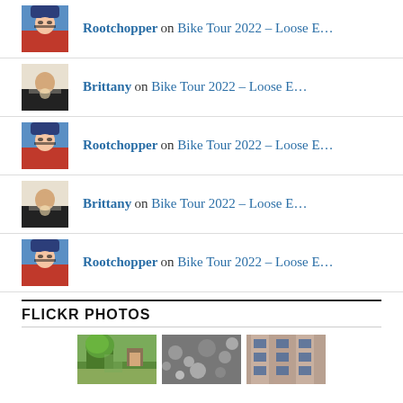Rootchopper on Bike Tour 2022 – Loose E…
Brittany on Bike Tour 2022 – Loose E…
Rootchopper on Bike Tour 2022 – Loose E…
Brittany on Bike Tour 2022 – Loose E…
Rootchopper on Bike Tour 2022 – Loose E…
FLICKR PHOTOS
[Figure (photo): Three thumbnail photos from Flickr: a garden/park scene, a gravel/rocks scene, and a building facade scene.]